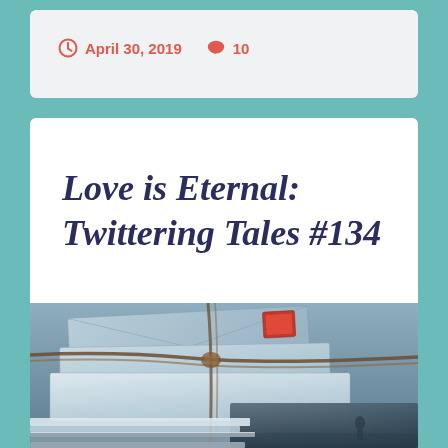April 30, 2019   10
Love is Eternal: Twittering Tales #134
[Figure (photo): Stack of old letters and envelopes tied together with twine, with a vintage photograph visible at the bottom right.]